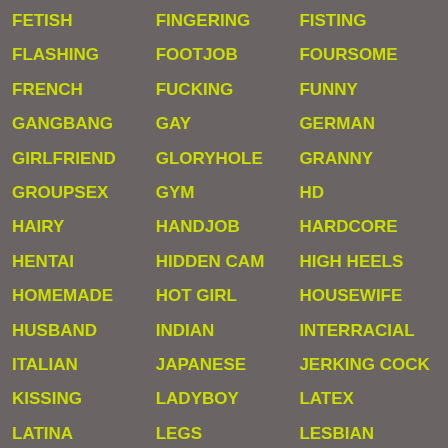FETISH
FINGERING
FISTING
FLASHING
FOOTJOB
FOURSOME
FRENCH
FUCKING
FUNNY
GANGBANG
GAY
GERMAN
GIRLFRIEND
GLORYHOLE
GRANNY
GROUPSEX
GYM
HD
HAIRY
HANDJOB
HARDCORE
HENTAI
HIDDEN CAM
HIGH HEELS
HOMEMADE
HOT GIRL
HOUSEWIFE
HUSBAND
INDIAN
INTERRACIAL
ITALIAN
JAPANESE
JERKING COCK
KISSING
LADYBOY
LATEX
LATINA
LEGS
LESBIAN
LINGERIE
MASSAGE
MASTURBATION
MATURE
MEN
MEXICAN
MILF
MSM
MUSCLE